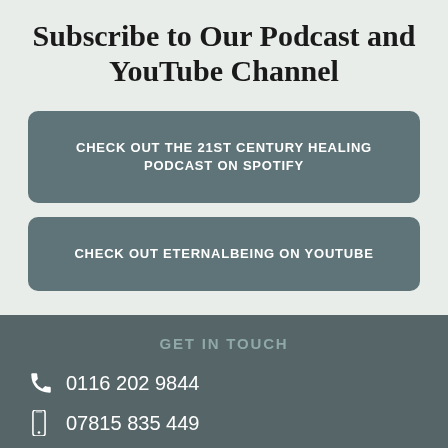Subscribe to Our Podcast and YouTube Channel
CHECK OUT THE 21ST CENTURY HEALING PODCAST ON SPOTIFY
CHECK OUT ETERNALBEING ON YOUTUBE
GET IN TOUCH
0116 202 9844
07815 835 449